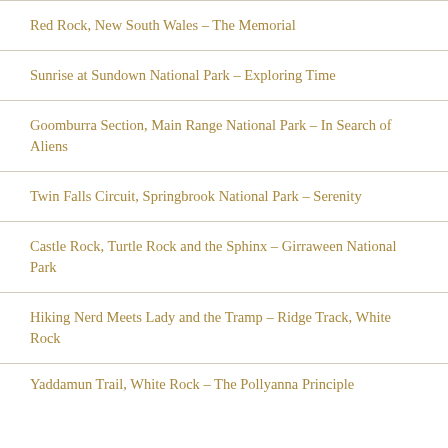Red Rock, New South Wales – The Memorial
Sunrise at Sundown National Park – Exploring Time
Goomburra Section, Main Range National Park – In Search of Aliens
Twin Falls Circuit, Springbrook National Park – Serenity
Castle Rock, Turtle Rock and the Sphinx – Girraween National Park
Hiking Nerd Meets Lady and the Tramp – Ridge Track, White Rock
Yaddamun Trail, White Rock – The Pollyanna Principle